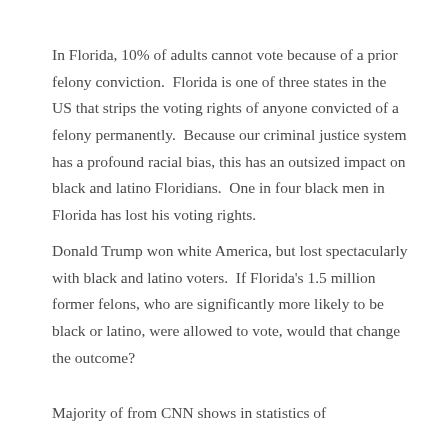In Florida, 10% of adults cannot vote because of a prior felony conviction.  Florida is one of three states in the US that strips the voting rights of anyone convicted of a felony permanently.  Because our criminal justice system has a profound racial bias, this has an outsized impact on black and latino Floridians.  One in four black men in Florida has lost his voting rights.
Donald Trump won white America, but lost spectacularly with black and latino voters.  If Florida's 1.5 million former felons, who are significantly more likely to be black or latino, were allowed to vote, would that change the outcome?
Majority of from CNN shows in statistics of